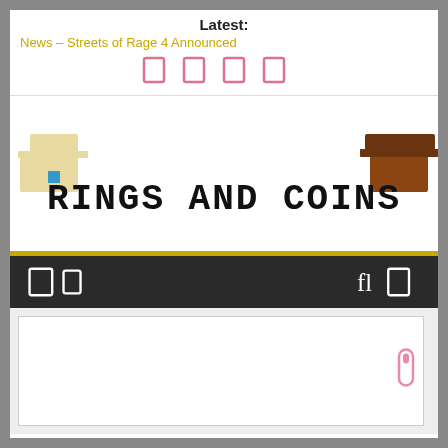Latest:
News – Streets of Rage 4 Announced
[Figure (other): Social media icon buttons in pink]
[Figure (logo): Rings and Coins pixel art logo with character sprites on left and right ends]
[Figure (other): Navigation bar with icon buttons on dark background]
[Figure (other): White content box area with scroll indicator]